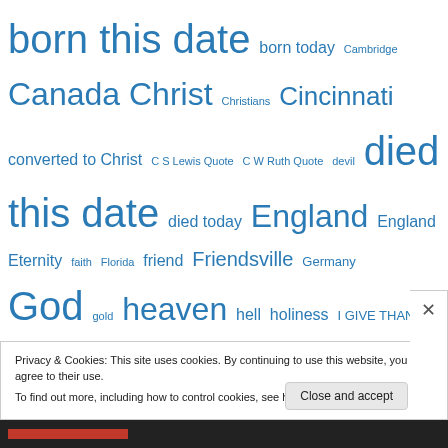born this date born today Cambridge Canada Christ Christians Cincinnati converted to Christ C S Lewis Quote C W Ruth Quote devil died this date died today England England Eternity faith Florida friend Friendsville Germany God gold heaven hell holiness I GIVE THANKS IN Indiana Ireland J A Wood Quote Jesus Jesus Christ John Wesley Kingston London Lord love Luther Luther Quote Martin Luther Massachusetts Methodist New York NJ NY OH Ohio Old poem/card Ontario on this date PA pastoring Paul W. Finch Philadelphia poem Scotland sin soul Tennessee the
Privacy & Cookies: This site uses cookies. By continuing to use this website, you agree to their use.
To find out more, including how to control cookies, see here: Cookie Policy
Close and accept